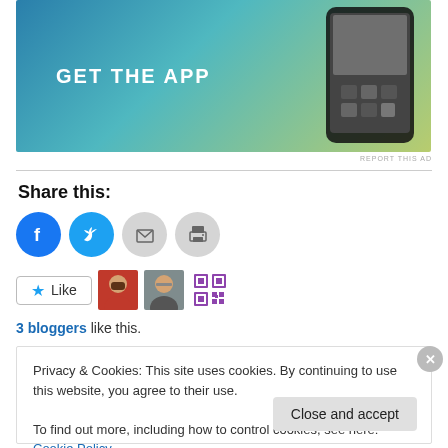[Figure (screenshot): App advertisement banner with gradient background (blue to yellow-green) showing 'GET THE APP' text and a phone mockup on the right]
REPORT THIS AD
Share this:
[Figure (illustration): Social sharing icons row: Facebook (blue circle with F), Twitter (blue circle with bird), Email (grey circle with envelope), Print (grey circle with printer)]
[Figure (illustration): Like button with star icon and 3 blogger avatars (two portrait photos and one QR-code style avatar)]
3 bloggers like this.
Privacy & Cookies: This site uses cookies. By continuing to use this website, you agree to their use.
To find out more, including how to control cookies, see here: Cookie Policy